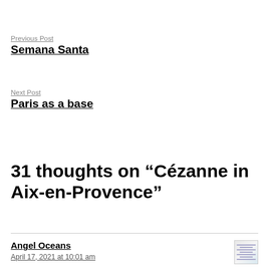Previous Post
Semana Santa
Next Post
Paris as a base
31 thoughts on “Cézanne in Aix-en-Provence”
Angel Oceans
April 17, 2021 at 10:01 am
[Figure (illustration): Small thumbnail avatar image with colored stripes]